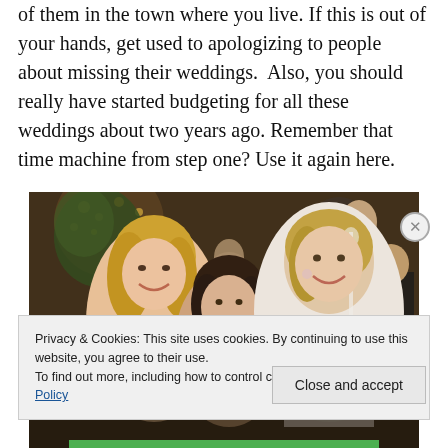of them in the town where you live. If this is out of your hands, get used to apologizing to people about missing their weddings.  Also, you should really have started budgeting for all these weddings about two years ago. Remember that time machine from step one? Use it again here.
[Figure (photo): Photo of three women smiling at a wedding reception, with festive lights and other guests in the background. The woman on the right appears to be the bride wearing white.]
Privacy & Cookies: This site uses cookies. By continuing to use this website, you agree to their use.
To find out more, including how to control cookies, see here: Cookie Policy
Close and accept